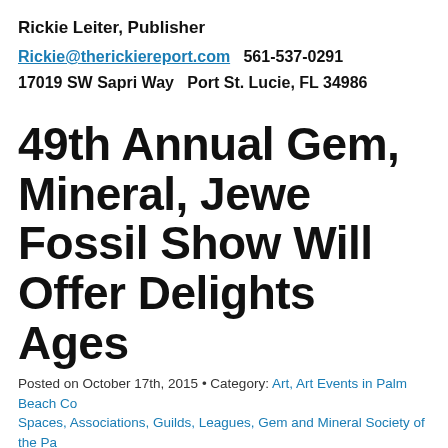Rickie Leiter, Publisher
Rickie@therickiereport.com   561-537-0291
17019 SW Sapri Way   Port St. Lucie, FL 34986
49th Annual Gem, Mineral, Jewelry, Fossil Show Will Offer Delights for All Ages
Posted on October 17th, 2015 • Category: Art, Art Events in Palm Beach County and Spaces, Associations, Guilds, Leagues, Gem and Mineral Society of the Palm Beaches Jewelry Bead and Fossil Show, Glass, Helpful Hints, Jewelry, Local News and Media, Photography, Pottery/Ceramics, Sculpture, Water Color, Weaving/Fiber
The 49th annual Gem, Mineral, Jewelry, Bead & Fossil Show is a... really is a lot to see and do at this two-day indoor event!  On No... 22nd, the South Florida Fairgrounds Expo Center will be transfo... culturally stimulating event ALL AGES can enjoy. Over 80 deale...